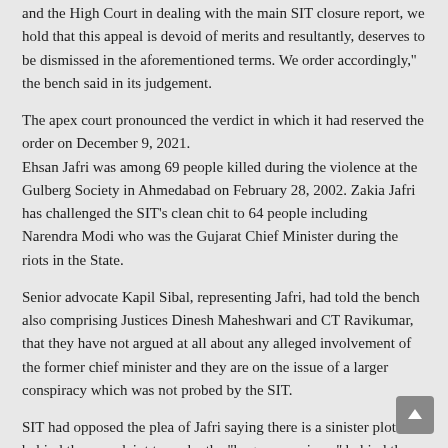and the High Court in dealing with the main SIT closure report, we hold that this appeal is devoid of merits and resultantly, deserves to be dismissed in the aforementioned terms. We order accordingly,'' the bench said in its judgement.
The apex court pronounced the verdict in which it had reserved the order on December 9, 2021.
Ehsan Jafri was among 69 people killed during the violence at the Gulberg Society in Ahmedabad on February 28, 2002. Zakia Jafri has challenged the SIT's clean chit to 64 people including Narendra Modi who was the Gujarat Chief Minister during the riots in the State.
Senior advocate Kapil Sibal, representing Jafri, had told the bench also comprising Justices Dinesh Maheshwari and CT Ravikumar, that they have not argued at all about any alleged involvement of the former chief minister and they are on the issue of a larger conspiracy which was not probed by the SIT.
SIT had opposed the plea of Jafri saying there is a sinister plot behind the complaint to probe the ''larger conspiracy'' behind the 2002 Gujarat riots and the original complaint by Jafri was dismissed...